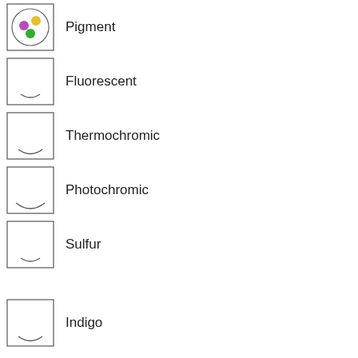[Figure (illustration): Square icon with circle containing three colored dots (purple, yellow, green) representing Pigment]
Pigment
[Figure (illustration): Square icon with small curved smile line at bottom representing Fluorescent]
Fluorescent
[Figure (illustration): Square icon with curved smile line at bottom representing Thermochromic]
Thermochromic
[Figure (illustration): Square icon with larger curved smile line at bottom representing Photochromic]
Photochromic
[Figure (illustration): Square icon with small curved smile line at bottom representing Sulfur]
Sulfur
[Figure (illustration): Square icon with curved smile line at bottom representing Indigo]
Indigo